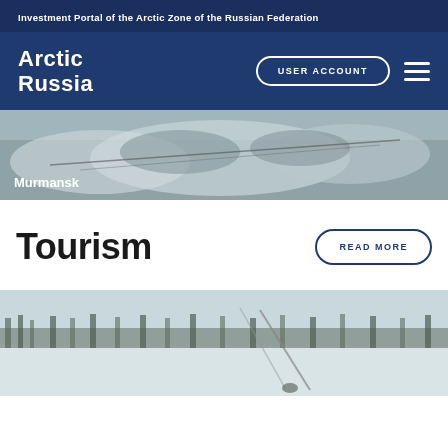Investment Portal of the Arctic Zone of the Russian Federation
[Figure (logo): Arctic Russia logo with USER ACCOUNT button and hamburger menu]
[Figure (photo): Close-up photo of reindeer in winter, labeled Murmansk]
Tourism
READ MORE
[Figure (photo): Winter landscape with person cross-country skiing or with poles in snowy field with trees in background]